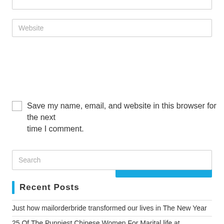Website (input placeholder)
Save my name, email, and website in this browser for the next time I comment.
POST COMMENT
Search (input placeholder)
Recent Posts
Just how mailorderbride transformed our lives in The New Year
25 Of The Punniest Chinese Women For Marital life at